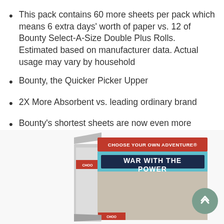This pack contains 60 more sheets per pack which means 6 extra days' worth of paper vs. 12 of Bounty Select-A-Size Double Plus Rolls. Estimated based on manufacturer data. Actual usage may vary by household
Bounty, the Quicker Picker Upper
2X More Absorbent vs. leading ordinary brand
Bounty's shortest sheets are now even more absorbent for a versatile clean (versus previous product)
[Figure (photo): A book titled 'War with the Power' from the 'Choose Your Own Adventure' series, shown at an angle with its cover visible. A green circular scroll-up button is visible in the bottom right corner.]